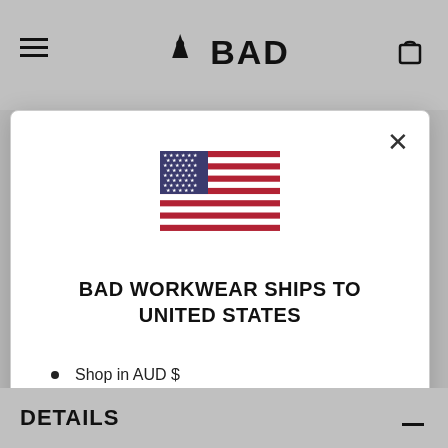[Figure (screenshot): BAD Workwear website header with hamburger menu, logo, and shopping bag icon on grey background]
[Figure (illustration): United States flag emoji/icon]
BAD WORKWEAR SHIPS TO UNITED STATES
Shop in AUD $
Get shipping options for United States
Shop now
Change shipping country
DETAILS